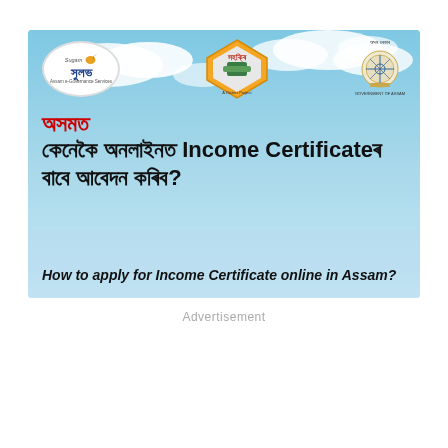[Figure (illustration): Government of Assam banner showing Sugam Suwami logo, Sahitri diamond logo, and Assam government emblem on a blue sky background with Assamese text asking 'How to apply for Income Certificate online in Assam?' and English subtitle below.]
Advertisement